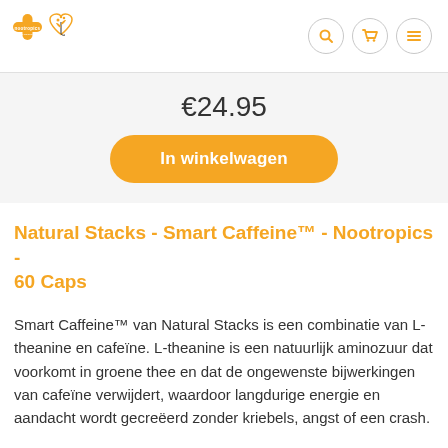Nootropics logo and navigation icons
€24.95
In winkelwagen
Natural Stacks - Smart Caffeine™ - Nootropics - 60 Caps
Smart Caffeine™ van Natural Stacks is een combinatie van L-theanine en cafeïne. L-theanine is een natuurlijk aminozuur dat voorkomt in groene thee en dat de ongewenste bijwerkingen van cafeïne verwijdert, waardoor langdurige energie en aandacht wordt gecreëerd zonder kriebels, angst of een crash.